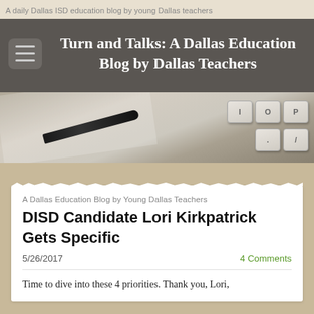A daily Dallas ISD education blog by young Dallas teachers
Turn and Talks: A Dallas Education Blog by Dallas Teachers
[Figure (photo): Photo of a pen resting on a notebook with a keyboard visible in the background]
A Dallas Education Blog by Young Dallas Teachers
DISD Candidate Lori Kirkpatrick Gets Specific
5/26/2017
4 Comments
Time to dive into these 4 priorities. Thank you, Lori,